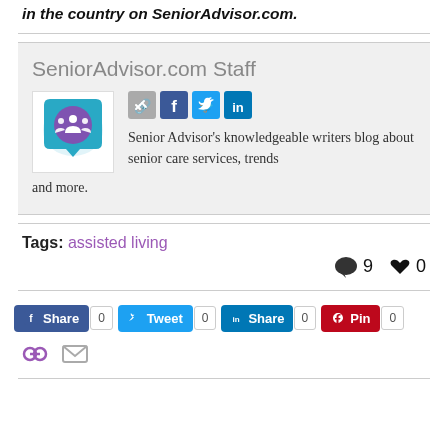in the country on SeniorAdvisor.com.
SeniorAdvisor.com Staff
[Figure (logo): SeniorAdvisor.com staff avatar with purple chat bubble and people icons]
Senior Advisor's knowledgeable writers blog about senior care services, trends and more.
Tags: assisted living
9 comments, 0 likes
Share buttons: Facebook Share 0, Tweet 0, LinkedIn Share 0, Pinterest Pin 0